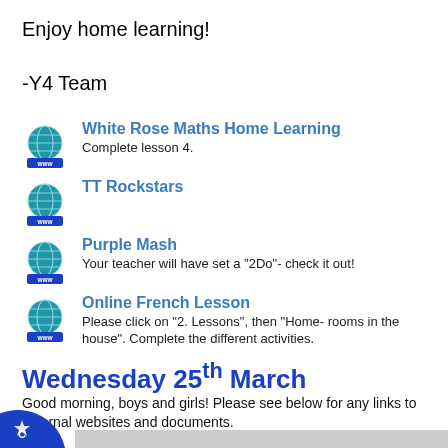Enjoy home learning!
-Y4 Team
White Rose Maths Home Learning
Complete lesson 4.
TT Rockstars
Purple Mash
Your teacher will have set a "2Do"- check it out!
Online French Lesson
Please click on "2. Lessons", then "Home- rooms in the house". Complete the different activities.
Wednesday 25th March
Good morning, boys and girls! Please see below for any links to external websites and documents.